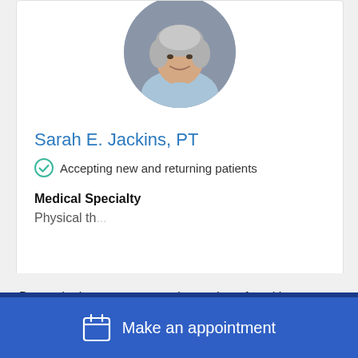[Figure (photo): Circular profile photo of Sarah E. Jackins, PT — a woman with short gray hair, smiling, wearing a light blue top]
Sarah E. Jackins, PT
Accepting new and returning patients
Medical Specialty
Physical th...
By continuing you agree to the storing of cookies on your device to enhance site navigation, analyze site usage and assist in marketing efforts. For more information, see Website Policy
Make an appointment